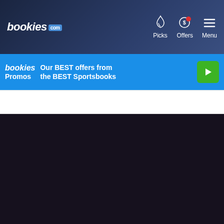[Figure (screenshot): Bookies.com website navigation bar with logo, Picks, Offers, and Menu icons on dark blue gradient background]
[Figure (screenshot): Bookies Promos promotional banner in blue with play button - 'Our BEST offers from the BEST Sportsbooks']
[Figure (screenshot): Dark content area of the website, nearly black/dark purple background]